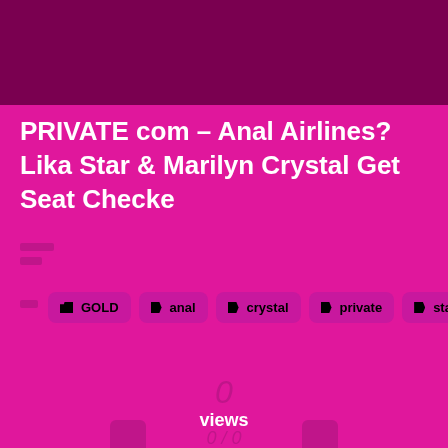PRIVATE com – Anal Airlines? Lika Star & Marilyn Crystal Get Seat Checke
GOLD
anal
crystal
private
star
0 views
0 / 0